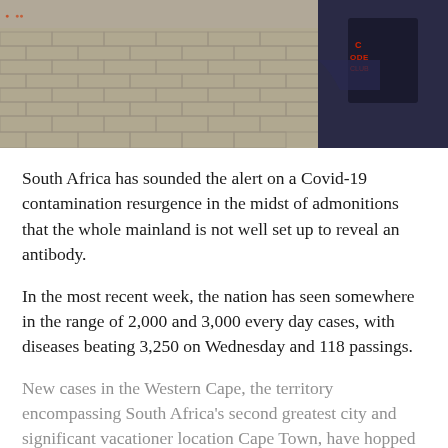[Figure (photo): Outdoor scene with brick pavement and a person wearing a dark jacket/hoodie carrying a dark bag with red text, viewed from behind]
South Africa has sounded the alert on a Covid-19 contamination resurgence in the midst of admonitions that the whole mainland is not well set up to reveal an antibody.
In the most recent week, the nation has seen somewhere in the range of 2,000 and 3,000 every day cases, with diseases beating 3,250 on Wednesday and 118 passings.
New cases in the Western Cape, the territory encompassing South Africa’s second greatest city and significant vacationer location Cape Town, have hopped by 52 percent.